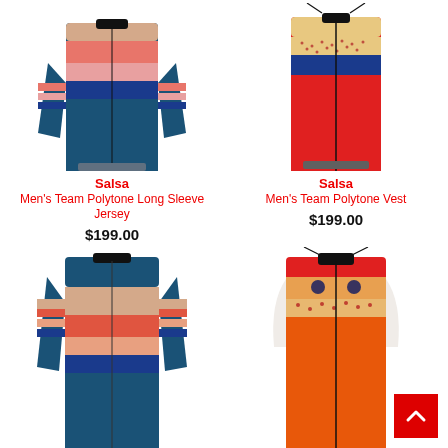[Figure (photo): Salsa Men's Team Polytone Long Sleeve Jersey - blue with coral/pink/navy horizontal stripes]
Salsa
Men's Team Polytone Long Sleeve Jersey
$199.00
[Figure (photo): Salsa Men's Team Polytone Vest - red/yellow/blue/navy horizontal stripes, sleeveless]
Salsa
Men's Team Polytone Vest
$199.00
[Figure (photo): Salsa cycling long sleeve jersey - navy blue with tan/coral/pink/blue horizontal stripes]
[Figure (photo): Salsa cycling vest - red/orange with tan/coral stripes, sleeveless]